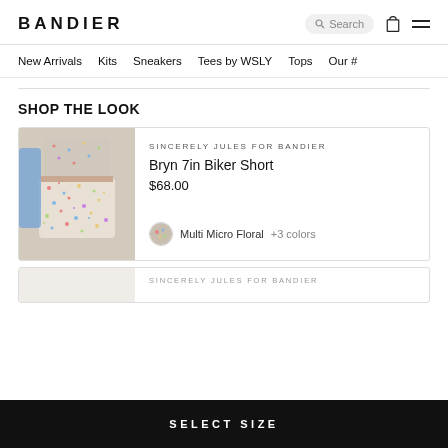BANDIER
New Arrivals  Kits  Sneakers  Tees by WSLY  Tops  Our #
SHOP THE LOOK
[Figure (photo): Model wearing floral biker shorts and matching crop top — Sincerely Jules for Bandier collaboration]
SINCERELY JULES FOR BANDIER
Bryn 7in Biker Short
$68.00
Multi Micro Floral +3 colors
SINCERELY JULES FOR BANDIER
SELECT SIZE